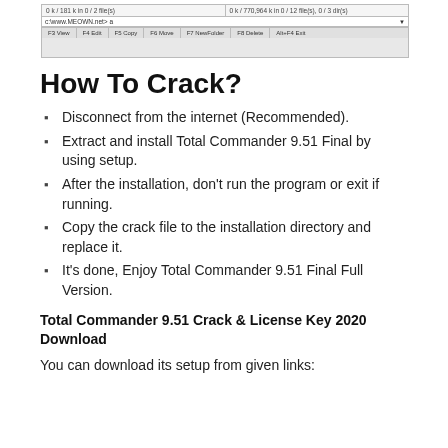[Figure (screenshot): Screenshot of a file manager application (Total Commander) showing two panels with file info, a path bar, and function key buttons at the bottom (F3 View, F4 Edit, F5 Copy, F6 Move, F7 NewFolder, F8 Delete, Alt+F4 Exit).]
How To Crack?
Disconnect from the internet (Recommended).
Extract and install Total Commander 9.51 Final by using setup.
After the installation, don't run the program or exit if running.
Copy the crack file to the installation directory and replace it.
It's done, Enjoy Total Commander 9.51 Final Full Version.
Total Commander 9.51 Crack & License Key 2020 Download
You can download its setup from given links: